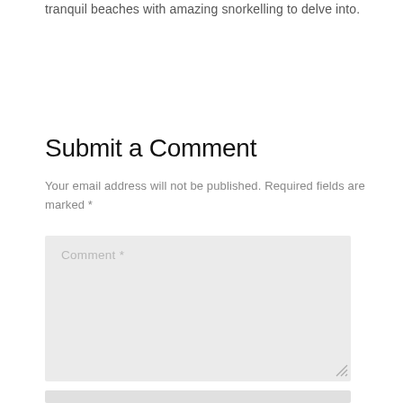tranquil beaches with amazing snorkelling to delve into.
Submit a Comment
Your email address will not be published. Required fields are marked *
[Figure (screenshot): Comment text area input box with placeholder text 'Comment *' and a resize handle in the bottom right corner]